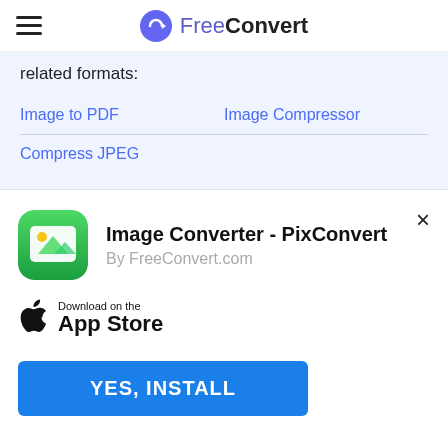FreeConvert
related formats:
Image to PDF
Image Compressor
Compress JPEG
Image Converter - PixConvert
By FreeConvert.com
Download on the App Store
YES, INSTALL